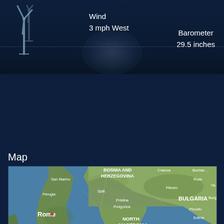Wind
3 mph West
Barometer
29.5 inches
Map
[Figure (map): A satellite/terrain map showing southeastern Europe including Italy, Bosnia and Herzegovina, Bulgaria, North Macedonia, Albania, and Greece. A purple location pin is placed over Albania/northern Greece area near Larisa. Cities labeled include Rome, Naples, Bari, Palermo, Catania, San Marino, Split, Podgorica, Pristina, Pleven, Ruse, Plovdiv, Edirne, Thessaloniki, Bursa, Balikesir, Izmir, Denizli, Athens, Patra, Larisa. Bodies of water include Tyrrhenian Sea.]